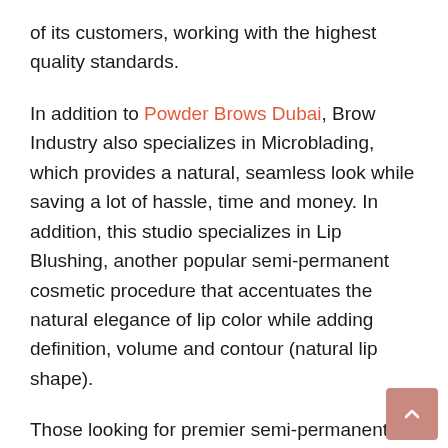of its customers, working with the highest quality standards.
In addition to Powder Brows Dubai, Brow Industry also specializes in Microblading, which provides a natural, seamless look while saving a lot of hassle, time and money. In addition, this studio specializes in Lip Blushing, another popular semi-permanent cosmetic procedure that accentuates the natural elegance of lip color while adding definition, volume and contour (natural lip shape).
Those looking for premier semi-permanent cosmetic procedures in Dubai may contact the Brow Industry team via phone at 971 54 339 0500. This studio is located at Arjan by miracle garden Diamond Business Center 4 Block C